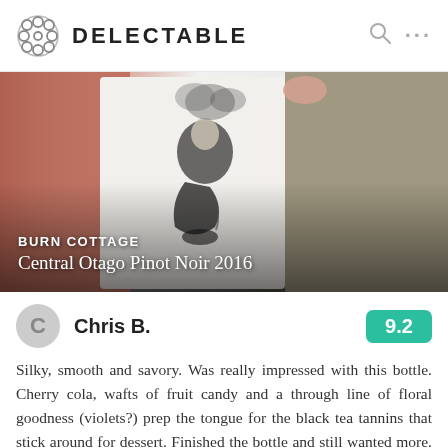DELECTABLE
[Figure (photo): Close-up photo of a wine bottle being held. The bottle has a white label with an ink illustration. Text overlay reads: BURN COTTAGE / Central Otago Pinot Noir 2016]
BURN COTTAGE
Central Otago Pinot Noir 2016
Chris B.
9.2
Silky, smooth and savory. Was really impressed with this bottle. Cherry cola, wafts of fruit candy and a through line of floral goodness (violets?) prep the tongue for the black tea tannins that stick around for dessert. Finished the bottle and still wanted more. — 2 years ago